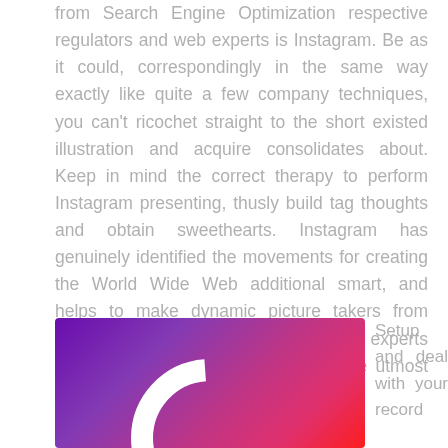from Search Engine Optimization respective regulators and web experts is Instagram. Be as it could, correspondingly in the same way exactly like quite a few company techniques, you can't ricochet straight to the short existed illustration and acquire consolidates about. Keep in mind the correct therapy to perform Instagram presenting, thusly build tag thoughts and obtain sweethearts. Instagram has genuinely identified the movements for creating the World Wide Web additional smart, and helps to make dynamic picture takers from standard customers and manufacturer experts from businesses who have viewed the utmost from the levels.
[Figure (illustration): Instagram app icon with purple to pink gradient background and white camera/ring logo]
Setup and deal with your record